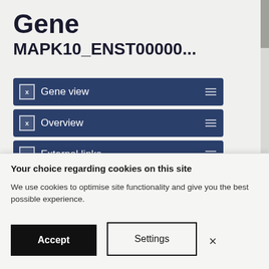Gene
MAPK10_ENST00000...
Gene view
Overview
External links
Drug resistance
Tissue distribution
Genome browser
Mutation distribution
Mutation distrib (partial, background)
Your choice regarding cookies on this site
We use cookies to optimise site functionality and give you the best possible experience.
Accept
Settings